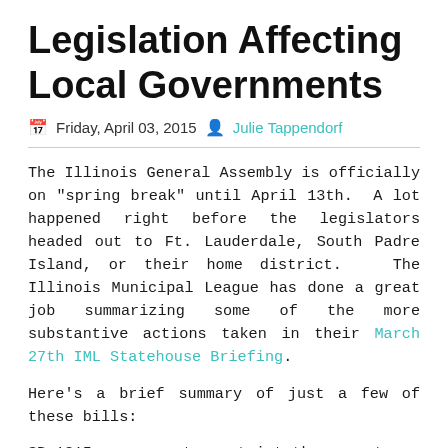Legislation Affecting Local Governments
Friday, April 03, 2015  Julie Tappendorf
The Illinois General Assembly is officially on "spring break" until April 13th. A lot happened right before the legislators headed out to Ft. Lauderdale, South Padre Island, or their home district. The Illinois Municipal League has done a great job summarizing some of the more substantive actions taken in their March 27th IML Statehouse Briefing.
Here's a brief summary of just a few of these bills:
SB 1815 proposes to restrict the amount a